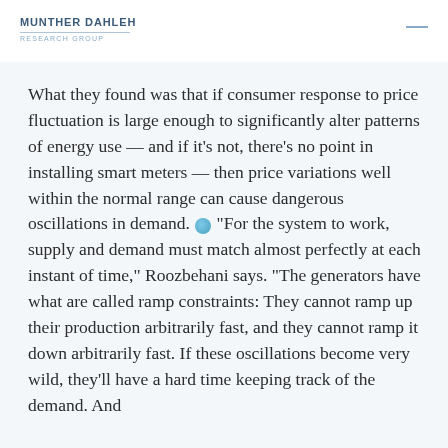MUNTHER DAHLEH RESEARCH GROUP
What they found was that if consumer response to price fluctuation is large enough to significantly alter patterns of energy use — and if it's not, there's no point in installing smart meters — then price variations well within the normal range can cause dangerous oscillations in demand. “For the system to work, supply and demand must match almost perfectly at each instant of time,” Roozbehani says. “The generators have what are called ramp constraints: They cannot ramp up their production arbitrarily fast, and they cannot ramp it down arbitrarily fast. If these oscillations become very wild, they’ll have a hard time keeping track of the demand. And